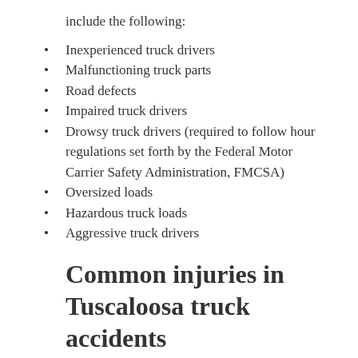include the following:
Inexperienced truck drivers
Malfunctioning truck parts
Road defects
Impaired truck drivers
Drowsy truck drivers (required to follow hour regulations set forth by the Federal Motor Carrier Safety Administration, FMCSA)
Oversized loads
Hazardous truck loads
Aggressive truck drivers
Common injuries in Tuscaloosa truck accidents